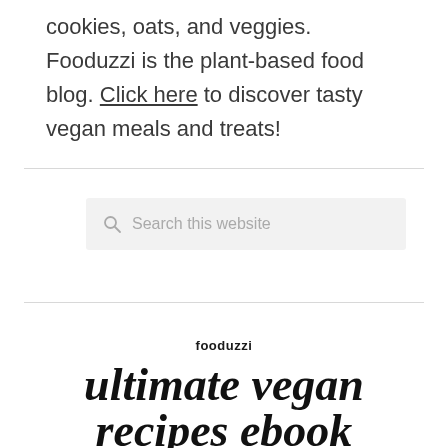cookies, oats, and veggies. Fooduzzi is the plant-based food blog. Click here to discover tasty vegan meals and treats!
[Figure (screenshot): Search bar with magnifying glass icon and placeholder text 'Search this website']
fooduzzi
ultimate vegan recipes ebook